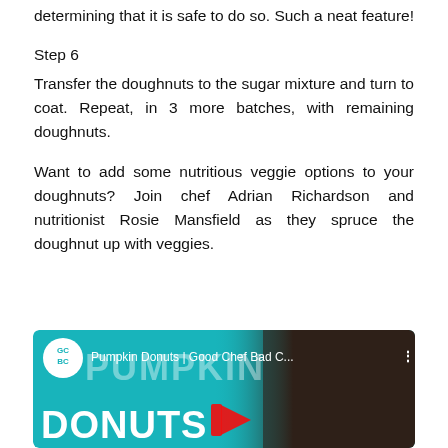determining that it is safe to do so. Such a neat feature!
Step 6
Transfer the doughnuts to the sugar mixture and turn to coat. Repeat, in 3 more batches, with remaining doughnuts.
Want to add some nutritious veggie options to your doughnuts? Join chef Adrian Richardson and nutritionist Rosie Mansfield as they spruce the doughnut up with veggies.
[Figure (screenshot): YouTube video thumbnail for 'Pumpkin Donuts | Good Chef Bad C...' showing teal background with large white DONUTS text, PUMPKIN overlay text, a red YouTube play button, GC BC logo circle, and donuts image on the right side.]